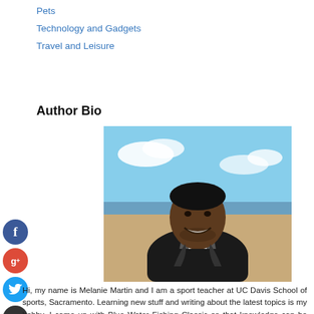Pets
Technology and Gadgets
Travel and Leisure
Author Bio
[Figure (photo): Portrait photo of a smiling man at a beach, wearing a dark jacket, with blue sky and ocean in the background.]
Hi, my name is Melanie Martin and I am a sport teacher at UC Davis School of sports, Sacramento. Learning new stuff and writing about the latest topics is my hobby. I came up with Blue Water Fishing Classic so that knowledge can be shared without any limitations. Stay in touch for more updates.